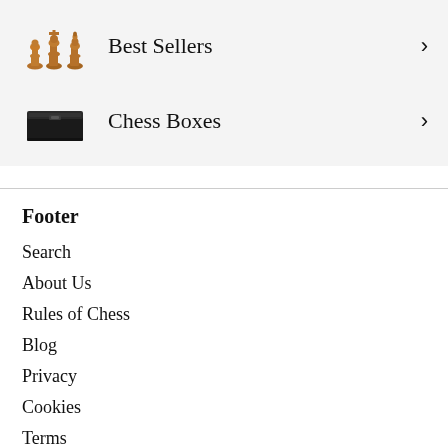Best Sellers
Chess Boxes
Footer
Search
About Us
Rules of Chess
Blog
Privacy
Cookies
Terms
Regency Chess Sets
Contacts